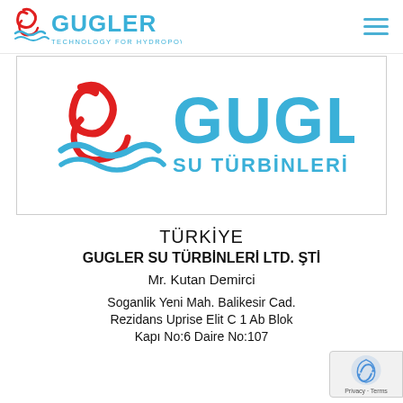[Figure (logo): Gugler Technology for Hydropower Plants logo in the page header navigation bar, with red swirl and blue GUGLER text and tagline]
[Figure (logo): Gugler Su Türbinleri Ltd. Şti. logo inside a bordered box — large blue GUGLER text with red swirl and subtitle SU TÜRBİNLERİ LTD. ŞTİ.]
TÜRKİYE
GUGLER SU TÜRBİNLERİ LTD. ŞTİ
Mr. Kutan Demirci
Soganlik Yeni Mah. Balikesir Cad.
Rezidans Uprise Elit C 1 Ab Blok
Kapı No:6 Daire No:107